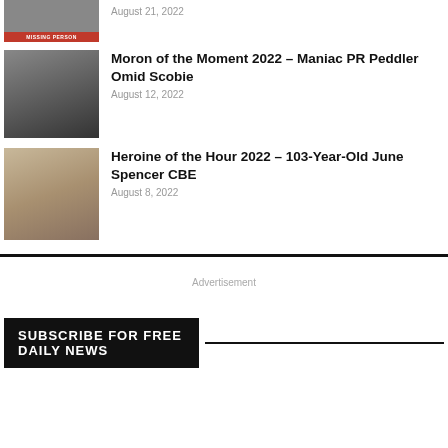[Figure (photo): Partial top thumbnail of a person with 'MISSING PERSON' banner in red]
August 21, 2022
[Figure (photo): Photo of a young man in a suit in front of Buckingham Palace]
Moron of the Moment 2022 – Maniac PR Peddler Omid Scobie
August 12, 2022
[Figure (photo): Photo of an elderly woman with white hair sitting on a sofa]
Heroine of the Hour 2022 – 103-Year-Old June Spencer CBE
August 8, 2022
Advertisement
SUBSCRIBE FOR FREE DAILY NEWS